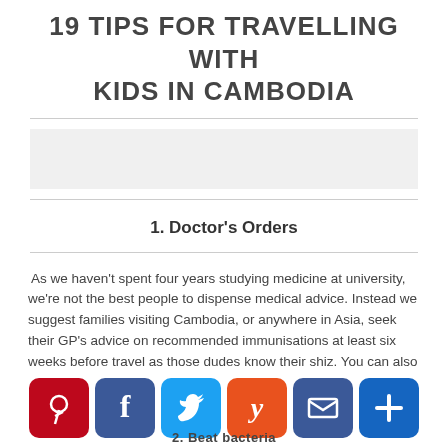19 TIPS FOR TRAVELLING WITH KIDS IN CAMBODIA
[Figure (other): Placeholder image area (blank/grey)]
1. Doctor's Orders
As we haven't spent four years studying medicine at university, we're not the best people to dispense medical advice. Instead we suggest families visiting Cambodia, or anywhere in Asia, seek their GP's advice on recommended immunisations at least six weeks before travel as those dudes know their shiz. You can also check out The Travel Doctor for up to date information.
[Figure (infographic): Social sharing bar with Pinterest, Facebook, Twitter, Yummly, Email, and Add buttons]
2. Beat bacteria